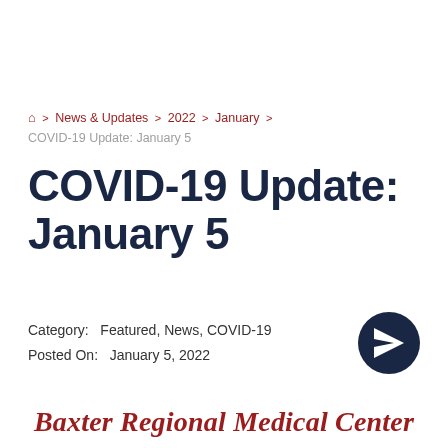🏠 > News & Updates > 2022 > January > COVID-19 Update: January 5
COVID-19 Update: January 5
Category:  Featured, News, COVID-19
Posted On:  January 5, 2022
[Figure (illustration): Dark navy circular send/share button with paper airplane icon]
Baxter Regional Medical Center